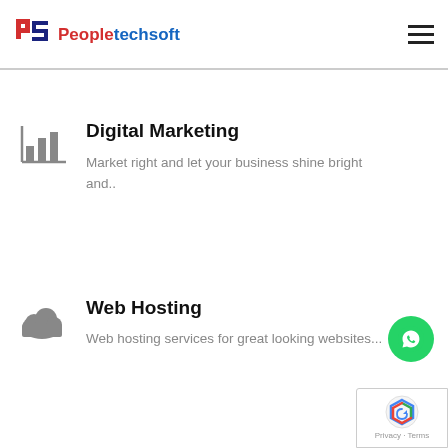Get the next edge advantage through Mobile
[Figure (logo): Peopletechsoft logo with stylized P and S icons in red and blue, followed by company name 'Peopletechsoft' in red and blue]
Digital Marketing
Market right and let your business shine bright and..
Web Hosting
Web hosting services for great looking websites...